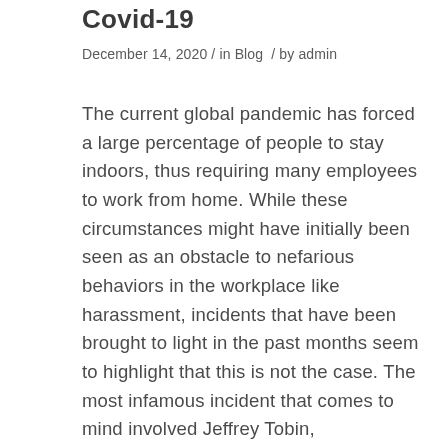Covid-19
December 14, 2020 / in Blog / by admin
The current global pandemic has forced a large percentage of people to stay indoors, thus requiring many employees to work from home. While these circumstances might have initially been seen as an obstacle to nefarious behaviors in the workplace like harassment, incidents that have been brought to light in the past months seem to highlight that this is not the case. The most infamous incident that comes to mind involved Jeffrey Tobin,